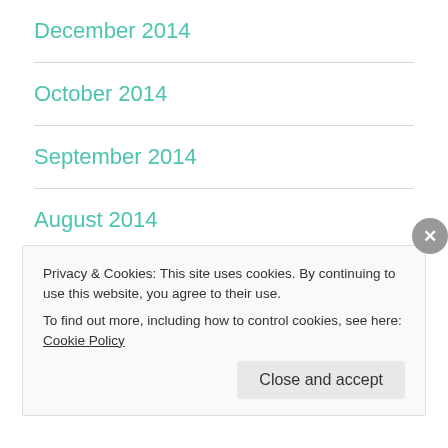December 2014
October 2014
September 2014
August 2014
July 2014
June 2014
Privacy & Cookies: This site uses cookies. By continuing to use this website, you agree to their use.
To find out more, including how to control cookies, see here: Cookie Policy